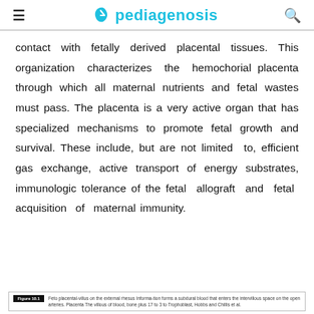pediagenosis
contact with fetally derived placental tissues. This organization characterizes the hemochorial placenta through which all maternal nutrients and fetal wastes must pass. The placenta is a very active organ that has specialized mechanisms to promote fetal growth and survival. These include, but are not limited to, efficient gas exchange, active transport of energy substrates, immunologic tolerance of the fetal allograft and fetal acquisition of maternal immunity.
Figure 10.1 Feto placental-villus on the external rhesus Informa-tion forms a subdural blood that enters the intervillous space on the open arteries. Placenta The villous of blood, bone plus 17 to 3 to Trophoblast, Hobbs and Chillis et al.